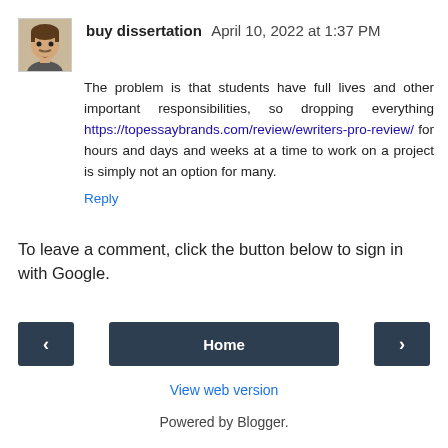buy dissertation  April 10, 2022 at 1:37 PM
The problem is that students have full lives and other important responsibilities, so dropping everything https://topessaybrands.com/review/ewriters-pro-review/ for hours and days and weeks at a time to work on a project is simply not an option for many.
Reply
To leave a comment, click the button below to sign in with Google.
SIGN IN WITH GOOGLE
‹
Home
›
View web version
Powered by Blogger.